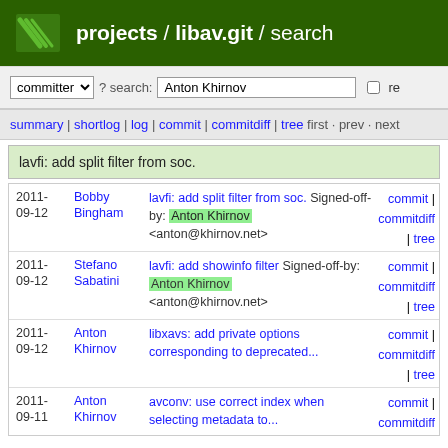projects / libav.git / search
committer ? search: Anton Khirnov re
summary | shortlog | log | commit | commitdiff | tree first · prev · next
lavfi: add split filter from soc.
| Date | Author | Message | Links |
| --- | --- | --- | --- |
| 2011-09-12 | Bobby Bingham | lavfi: add split filter from soc.
Signed-off-by: Anton Khirnov <anton@khirnov.net> | commit | commitdiff | tree |
| 2011-09-12 | Stefano Sabatini | lavfi: add showinfo filter
Signed-off-by: Anton Khirnov <anton@khirnov.net> | commit | commitdiff | tree |
| 2011-09-12 | Anton Khirnov | libxavs: add private options corresponding to deprecated... | commit | commitdiff | tree |
| 2011-09-11 | Anton Khirnov | avconv: use correct index when selecting metadata to... | commit | commitdiff |